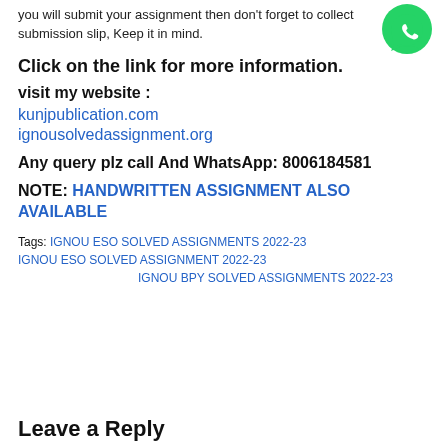you will submit your assignment then don't forget to collect submission slip, Keep it in mind.
Click on the link for more information.
visit my website :
kunjpublication.com
ignousolvedassignment.org
Any query plz call And WhatsApp: 8006184581
NOTE: HANDWRITTEN ASSIGNMENT ALSO AVAILABLE
Tags: IGNOU ESO SOLVED ASSIGNMENTS 2022-23 IGNOU ESO SOLVED ASSIGNMENT 2022-23 IGNOU BPY SOLVED ASSIGNMENTS 2022-23
Leave a Reply